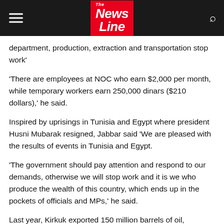The News Line
department, production, extraction and transportation stop work'
'There are employees at NOC who earn $2,000 per month, while temporary workers earn 250,000 dinars ($210 dollars),' he said.
Inspired by uprisings in Tunisia and Egypt where president Husni Mubarak resigned, Jabbar said 'We are pleased with the results of events in Tunisia and Egypt.
'The government should pay attention and respond to our demands, otherwise we will stop work and it is we who produce the wealth of this country, which ends up in the pockets of officials and MPs,' he said.
Last year, Kirkuk exported 150 million barrels of oil,